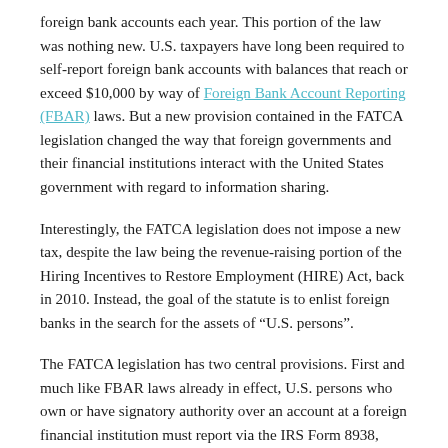foreign bank accounts each year. This portion of the law was nothing new. U.S. taxpayers have long been required to self-report foreign bank accounts with balances that reach or exceed $10,000 by way of Foreign Bank Account Reporting (FBAR) laws. But a new provision contained in the FATCA legislation changed the way that foreign governments and their financial institutions interact with the United States government with regard to information sharing.
Interestingly, the FATCA legislation does not impose a new tax, despite the law being the revenue-raising portion of the Hiring Incentives to Restore Employment (HIRE) Act, back in 2010. Instead, the goal of the statute is to enlist foreign banks in the search for the assets of “U.S. persons”.
The FATCA legislation has two central provisions. First and much like FBAR laws already in effect, U.S. persons who own or have signatory authority over an account at a foreign financial institution must report via the IRS Form 8938, Statement of Specified Foreign Financial Assets. Second, foreign financial institutions must enter into an agreement with the Internal Revenue Service that involves the bank combing through their customer records and passing along